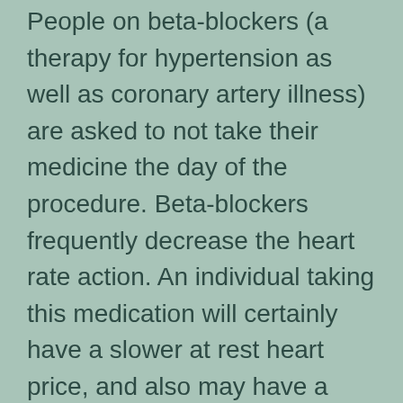People on beta-blockers (a therapy for hypertension as well as coronary artery illness) are asked to not take their medicine the day of the procedure. Beta-blockers frequently decrease the heart rate action. An individual taking this medication will certainly have a slower at rest heart price, and also may have a hard time getting to excellent heart rate during the treadmill section of the test. Lastly, the patient needs to wear comfy garments and also footwear, suitable for exercise. The stress and anxiety resemble typically takes 90 minutes.